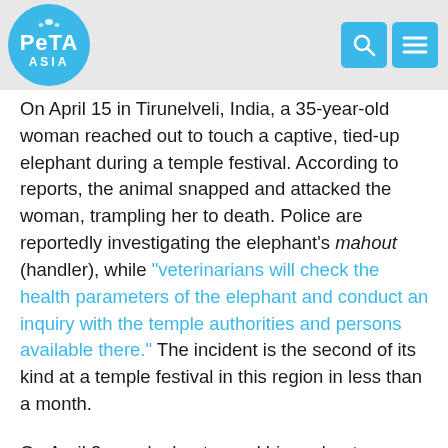PETA ASIA
On April 15 in Tirunelveli, India, a 35-year-old woman reached out to touch a captive, tied-up elephant during a temple festival. According to reports, the animal snapped and attacked the woman, trampling her to death. Police are reportedly investigating the elephant’s mahout (handler), while “veterinarians will check the health parameters of the elephant and conduct an inquiry with the temple authorities and persons available there.” The incident is the second of its kind at a temple festival in this region in less than a month.
On April 3, an elephant gored his mahout (handler) to death during “an annual nercha (offering) festival” in Kerala, India, according to reports. The incident reportedly occurred while the handler and two